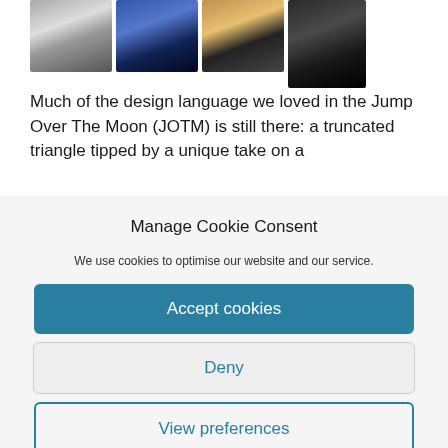[Figure (photo): Four watch product photos in a row: silver watch with exposed mechanism, blue dial dress watch, rose gold and black watch, black watch on black strap]
Much of the design language we loved in the Jump Over The Moon (JOTM) is still there: a truncated triangle tipped by a unique take on a
Manage Cookie Consent
We use cookies to optimise our website and our service.
Accept cookies
Deny
View preferences